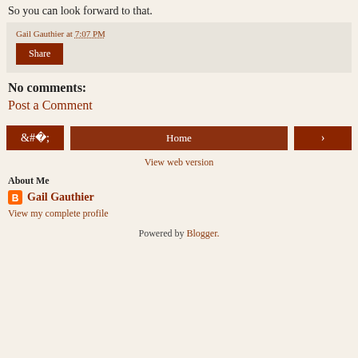So you can look forward to that.
Gail Gauthier at 7:07 PM
Share
No comments:
Post a Comment
‹  Home  ›
View web version
About Me
Gail Gauthier
View my complete profile
Powered by Blogger.